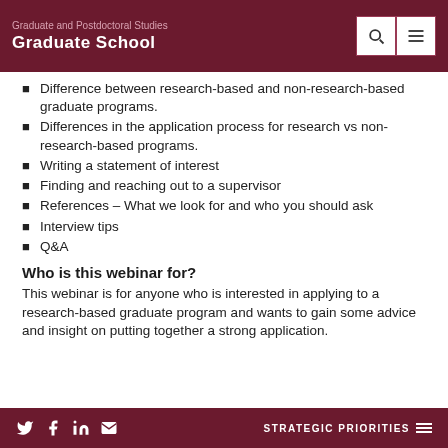Graduate and Postdoctoral Studies
Graduate School
Difference between research-based and non-research-based graduate programs.
Differences in the application process for research vs non-research-based programs.
Writing a statement of interest
Finding and reaching out to a supervisor
References – What we look for and who you should ask
Interview tips
Q&A
Who is this webinar for?
This webinar is for anyone who is interested in applying to a research-based graduate program and wants to gain some advice and insight on putting together a strong application.
STRATEGIC PRIORITIES